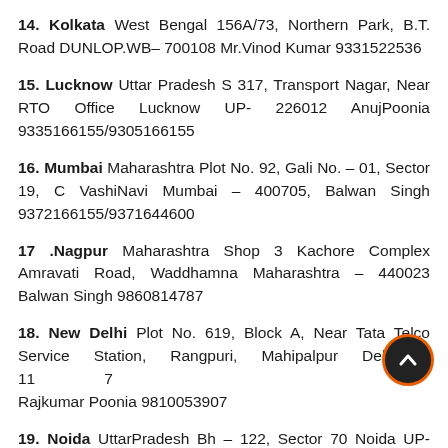14. Kolkata West Bengal 156A/73, Northern Park, B.T. Road DUNLOP.WB– 700108 Mr.Vinod Kumar 9331522536
15. Lucknow Uttar Pradesh S 317, Transport Nagar, Near RTO Office Lucknow UP- 226012 AnujPoonia 9335166155/9305166155
16. Mumbai Maharashtra Plot No. 92, Gali No. – 01, Sector 19, C VashiNavi Mumbai – 400705, Balwan Singh 9372166155/9371644600
17 .Nagpur Maharashtra Shop 3 Kachore Complex Amravati Road, Waddhamna Maharashtra – 440023 Balwan Singh 9860814787
18. New Delhi Plot No. 619, Block A, Near Tata Telco Service Station, Rangpuri, Mahipalpur Delhi – 110037 Rajkumar Poonia 9810053907
19. Noida UttarPradesh Bh – 122, Sector 70 Noida UP-201301, Anuj Poonia 9999166155